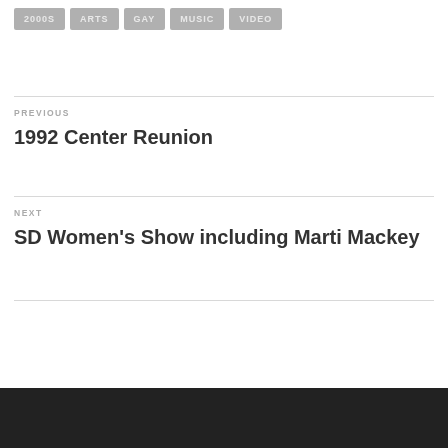2000S
ARTS
GAY
MUSIC
VIDEO
PREVIOUS
1992 Center Reunion
NEXT
SD Women's Show including Marti Mackey